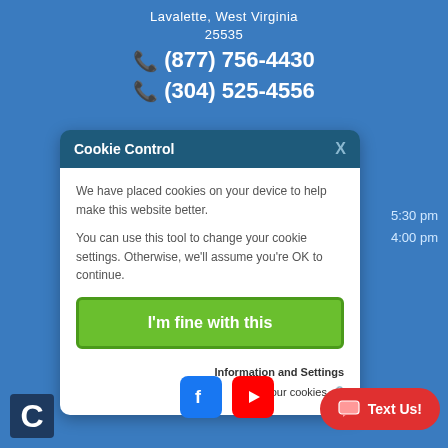Lavalette, West Virginia
25535
📞 (877) 756-4430
📞 (304) 525-4556
5:30 pm
4:00 pm
[Figure (screenshot): Cookie Control modal dialog with header 'Cookie Control' and close X button, body text about cookies, green 'I'm fine with this' button, and footer links for Information and Settings and About our cookies]
I'm fine with this
Information and Settings
About our cookies
[Figure (logo): Facebook icon - blue rounded square with white F]
[Figure (logo): YouTube icon - red rounded square with white play button]
[Figure (infographic): Red pill-shaped Text Us button with chat bubble icon]
[Figure (logo): White letter C on dark blue background - company logo]